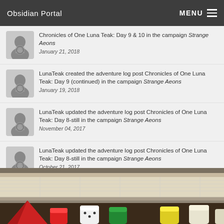Obsidian Portal  MENU
Chronicles of One Luna Teak: Day 9 & 10 in the campaign Strange Aeons
January 21, 2018
LunaTeak created the adventure log post Chronicles of One Luna Teak: Day 9 (continued) in the campaign Strange Aeons
January 19, 2018
LunaTeak updated the adventure log post Chronicles of One Luna Teak: Day 8-still in the campaign Strange Aeons
November 04, 2017
LunaTeak updated the adventure log post Chronicles of One Luna Teak: Day 8-still in the campaign Strange Aeons
October 21, 2017
[Figure (photo): Photo of tabletop RPG dice (red, white, green, yellow) on a wooden/paper surface, bottom of the page]